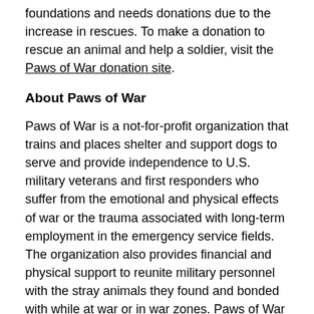foundations and needs donations due to the increase in rescues. To make a donation to rescue an animal and help a soldier, visit the Paws of War donation site.
About Paws of War
Paws of War is a not-for-profit organization that trains and places shelter and support dogs to serve and provide independence to U.S. military veterans and first responders who suffer from the emotional and physical effects of war or the trauma associated with long-term employment in the emergency service fields. The organization also provides financial and physical support to reunite military personnel with the stray animals they found and bonded with while at war or in war zones. Paws of War funding comes from individual donors, corporations, foundations, trusts, and businesses. For more information, please visit: https://pawsofwar.org/.